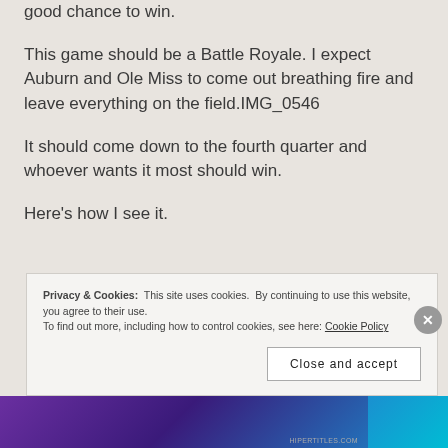good chance to win.
This game should be a Battle Royale. I expect Auburn and Ole Miss to come out breathing fire and leave everything on the field.IMG_0546
It should come down to the fourth quarter and whoever wants it most should win.
Here’s how I see it.
Privacy & Cookies:  This site uses cookies.  By continuing to use this website, you agree to their use.
To find out more, including how to control cookies, see here: Cookie Policy
[Figure (screenshot): Close and accept button for cookie banner, and an advertisement bar at the bottom with purple and blue gradient]